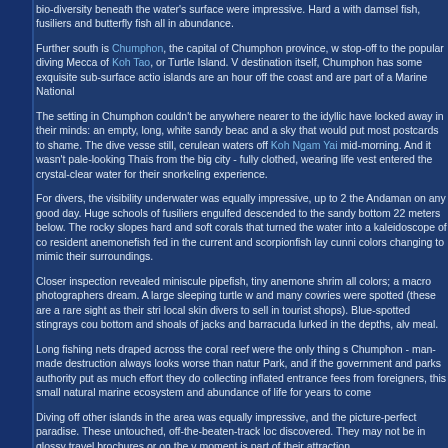bio-diversity beneath the water's surface were impressive. Hard a... with damsel fish, fusiliers and butterfly fish all in abundance.
Further south is Chumphon, the capital of Chumphon province, w... stop-off to the popular diving Mecca of Koh Tao, or Turtle Island. V... destination itself, Chumphon has some exquisite sub-surface actio... islands are an hour off the coast and are part of a Marine National...
The setting in Chumphon couldn't be anywhere nearer to the idyllic... have locked away in their minds: an empty, long, white sandy beac... and a sky that would put most postcards to shame. The dive vesse... still, cerulean waters off Koh Ngam Yai mid-morning. And it wasn't... pale-looking Thais from the big city - fully clothed, wearing life vest... entered the crystal-clear water for their snorkeling experience.
For divers, the visibility underwater was equally impressive, up to 2... the Andaman on any good day. Huge schools of fusiliers engulfed... descended to the sandy bottom 22 meters below. The rocky slopes... hard and soft corals that turned the water into a kaleidoscope of co... resident anemonefish fed in the current and scorpionfish lay cunni... colors changing to mimic their surroundings.
Closer inspection revealed miniscule pipefish, tiny anemone shrim... all colors; a macro photographers dream. A large sleeping turtle w... and many cowries were spotted (these are a rare sight as their stri... local skin divers to sell in tourist shops). Blue-spotted stingrays co... bottom and shoals of jacks and barracuda lurked in the depths, al... meal.
Long fishing nets draped across the coral reef were the only thing s... Chumphon - man-made destruction always looks worse than natur... Park, and if the government and parks authority put as much effort... they do collecting inflated entrance fees from foreigners, this small... natural marine ecosystem and abundance of life for years to come...
Diving off other islands in the area was equally impressive, and the... picture-perfect paradise. These untouched, off-the-beaten-track lo... discovered. They may not be in glossy travel brochures or on the v... moment is part of their attraction.
Today, the cancellation of holidays is causing the most damage to...